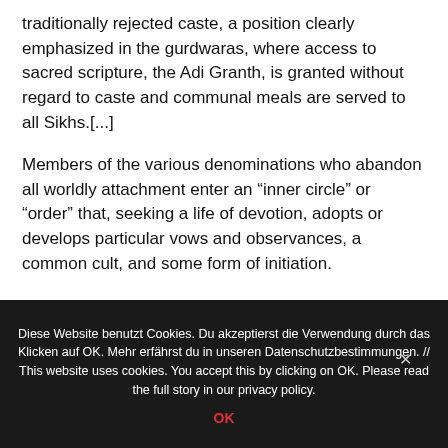traditionally rejected caste, a position clearly emphasized in the gurdwaras, where access to sacred scripture, the Adi Granth, is granted without regard to caste and communal meals are served to all Sikhs.[...]
Members of the various denominations who abandon all worldly attachment enter an “inner circle” or “order” that, seeking a life of devotion, adopts or develops particular vows and observances, a common cult, and some form of initiation.
Diese Website benutzt Cookies. Du akzeptierst die Verwendung durch das Klicken auf OK. Mehr erfährst du in unseren Datenschutzbestimmungen. // This website uses cookies. You accept this by clicking on OK. Please read the full story in our privacy policy.
OK